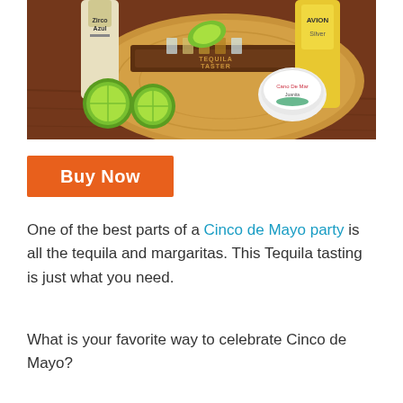[Figure (photo): A tequila tasting set on a wooden board with limes, shot glasses, salt, and tequila bottles including Zircon Azul and Avion.]
Buy Now
One of the best parts of a Cinco de Mayo party is all the tequila and margaritas. This Tequila tasting is just what you need.
What is your favorite way to celebrate Cinco de Mayo?